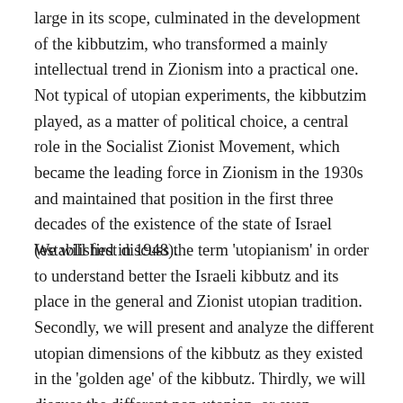large in its scope, culminated in the development of the kibbutzim, who transformed a mainly intellectual trend in Zionism into a practical one. Not typical of utopian experiments, the kibbutzim played, as a matter of political choice, a central role in the Socialist Zionist Movement, which became the leading force in Zionism in the 1930s and maintained that position in the first three decades of the existence of the state of Israel (established in 1948).
We will first discuss the term 'utopianism' in order to understand better the Israeli kibbutz and its place in the general and Zionist utopian tradition. Secondly, we will present and analyze the different utopian dimensions of the kibbutz as they existed in the 'golden age' of the kibbutz. Thirdly, we will discuss the different non-utopian, or even dystopian, aspects of